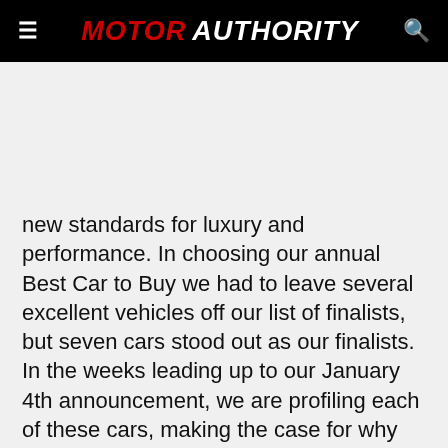MOTOR AUTHORITY
new standards for luxury and performance. In choosing our annual Best Car to Buy we had to leave several excellent vehicles off our list of finalists, but seven cars stood out as our finalists. In the weeks leading up to our January 4th announcement, we are profiling each of these cars, making the case for why they could be the Motor Authority Best Car To Buy 2016. Up today is the most powerful Cadillac ever to grace the market: the 2016…